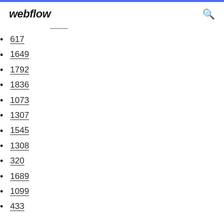webflow
617
1649
1792
1836
1073
1307
1545
1308
320
1689
1099
433